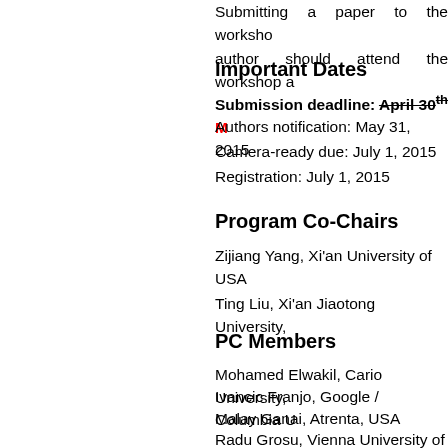Submitting a paper to the workshop author should attend the workshop a
Important Dates
Submission deadline: April 30th [struck] May [red]
Authors notification: May 31, 2015
Camera-ready due: July 1, 2015
Registration: July 1, 2015
Program Co-Chairs
Zijiang Yang, Xi'an University of USA
Ting Liu, Xi'an Jiaotong University,
PC Members
Mohamed Elwakil, Cario University,
Ivancic Franjo, Google / Columbia U
Malay Ganai, Atrenta, USA
Radu Grosu, Vienna University of Te
Keijo Heljanko, Aalto University, Fi
Jian Liu, Institute of Software, Chine
Jin Liu, Wuhan University, China
Shaoying Liu, Hosei University, Japa
Shubo Liu, Wuhan University, China